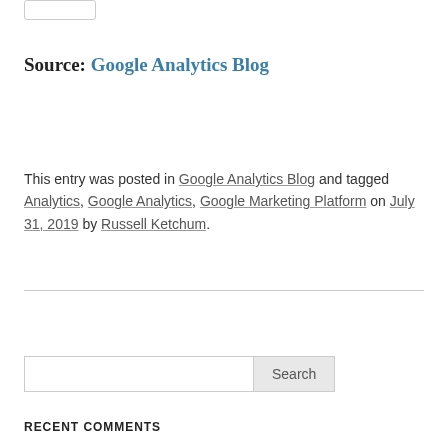[Figure (other): Small white rectangle with border, partial image/logo at top left]
Source: Google Analytics Blog
This entry was posted in Google Analytics Blog and tagged Analytics, Google Analytics, Google Marketing Platform on July 31, 2019 by Russell Ketchum.
Search input field with Search button
RECENT COMMENTS